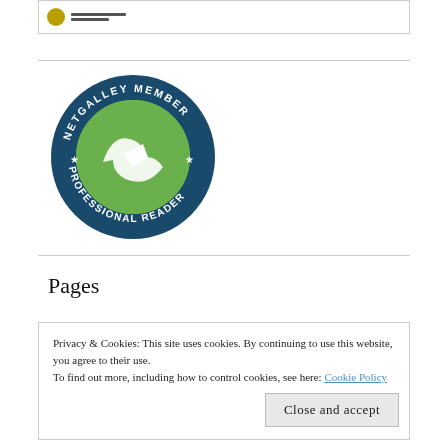[Figure (logo): South Africa government logo with circular emblem and text lines reading 'REPUBLIC OF SOUTH AFRICA']
[Figure (logo): NetGalley Member Professional Reader badge - circular green badge with stylized arrow/swoosh logo and text around the border reading 'NETGALLEY MEMBER' and 'PROFESSIONAL READER' with stars]
Pages
Privacy & Cookies: This site uses cookies. By continuing to use this website, you agree to their use.
To find out more, including how to control cookies, see here: Cookie Policy